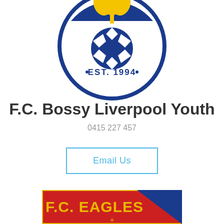[Figure (logo): F.C. Bossy Liverpool Youth club circular logo with blue circle border, fleur-de-lis symbol in blue and gold at top, soccer ball silhouette in center, text EST. 1994 in dark blue, established 1994]
F.C. Bossy Liverpool Youth
0415 227 457
Email Us
[Figure (logo): F.C. Eagles logo with red background and gold text F.C. EAGLES, blue diagonal section on right, anchor emblem visible at bottom]